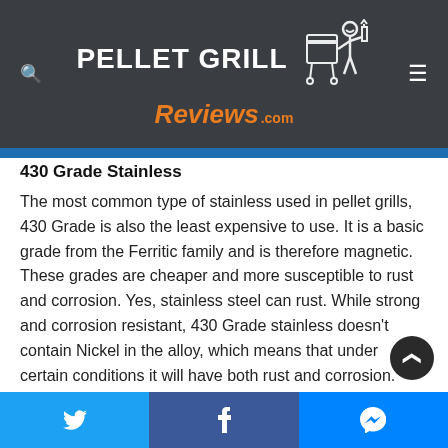PELLET GRILL Reviews .com
430 Grade Stainless
The most common type of stainless used in pellet grills, 430 Grade is also the least expensive to use. It is a basic grade from the Ferritic family and is therefore magnetic. These grades are cheaper and more susceptible to rust and corrosion. Yes, stainless steel can rust. While strong and corrosion resistant, 430 Grade stainless doesn't contain Nickel in the alloy, which means that under certain conditions it will have both rust and corrosion.
Twitter | Facebook | Messenger